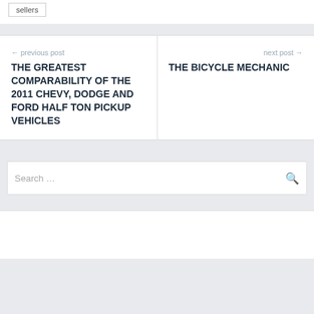sellers
← previous post
THE GREATEST COMPARABILITY OF THE 2011 CHEVY, DODGE AND FORD HALF TON PICKUP VEHICLES
next post →
THE BICYCLE MECHANIC
Search …